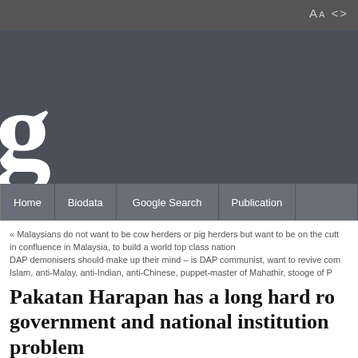Aa <>
[Figure (screenshot): Dark website header band with large bold serif letter 'g' on the left]
Home | Biodata | Google Search | Publication
« Malaysians do not want to be cow herders or pig herders but want to be on the cutting edge, in confluence in Malaysia, to build a world top class nation
DAP demonisers should make up their mind – is DAP communist, want to revive communism, anti-Islam, anti-Malay, anti-Indian, anti-Chinese, puppet-master of Mahathir, stooge of P
Pakatan Harapan has a long hard road to restore good government and national institutions after 60-year BN problem